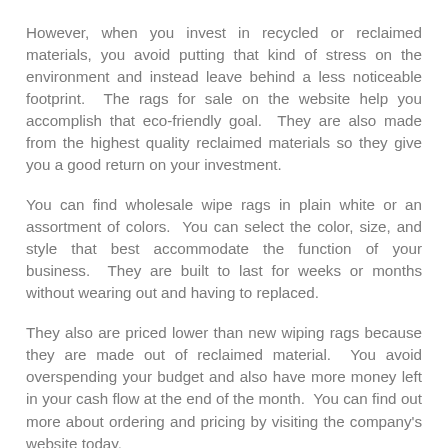However, when you invest in recycled or reclaimed materials, you avoid putting that kind of stress on the environment and instead leave behind a less noticeable footprint.  The rags for sale on the website help you accomplish that eco-friendly goal.  They are also made from the highest quality reclaimed materials so they give you a good return on your investment.
You can find wholesale wipe rags in plain white or an assortment of colors.  You can select the color, size, and style that best accommodate the function of your business.  They are built to last for weeks or months without wearing out and having to replaced.
They also are priced lower than new wiping rags because they are made out of reclaimed material.  You avoid overspending your budget and also have more money left in your cash flow at the end of the month.  You can find out more about ordering and pricing by visiting the company's website today.